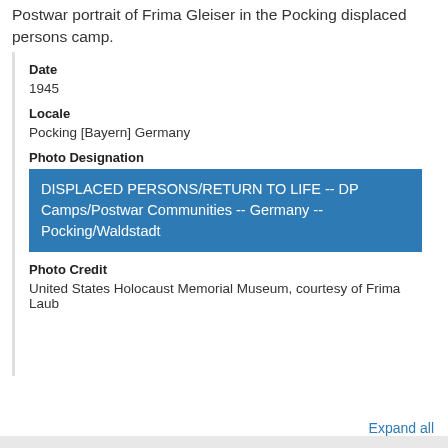Postwar portrait of Frima Gleiser in the Pocking displaced persons camp.
Date
1945
Locale
Pocking [Bayern] Germany
Photo Designation
DISPLACED PERSONS/RETURN TO LIFE -- DP Camps/Postwar Communities -- Germany -- Pocking/Waldstadt
Photo Credit
United States Holocaust Memorial Museum, courtesy of Frima Laub
Expand all